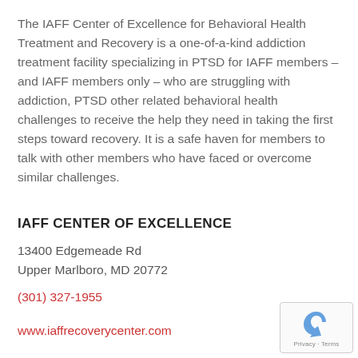The IAFF Center of Excellence for Behavioral Health Treatment and Recovery is a one-of-a-kind addiction treatment facility specializing in PTSD for IAFF members – and IAFF members only – who are struggling with addiction, PTSD other related behavioral health challenges to receive the help they need in taking the first steps toward recovery. It is a safe haven for members to talk with other members who have faced or overcome similar challenges.
IAFF CENTER OF EXCELLENCE
13400 Edgemeade Rd
Upper Marlboro, MD 20772
(301) 327-1955
www.iaffrecoverycenter.com